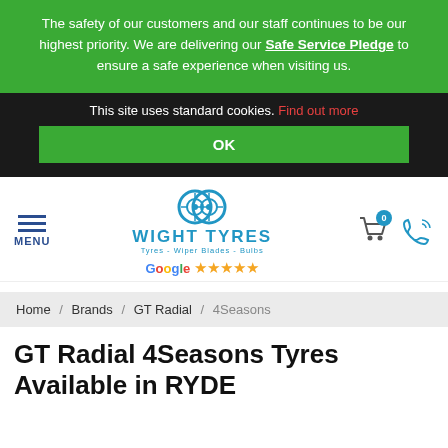The safety of our customers and our staff continues to be our highest priority. We are delivering our Safe Service Pledge to ensure a safe experience when visiting us.
This site uses standard cookies. Find out more
OK
[Figure (logo): Wight Tyres logo with two tire wheel icons, text 'WIGHT TYRES Tyres - Wiper Blades - Bulbs', Google 5-star rating, cart icon, phone icon, hamburger menu with MENU label]
Home / Brands / GT Radial / 4Seasons
GT Radial 4Seasons Tyres Available in RYDE